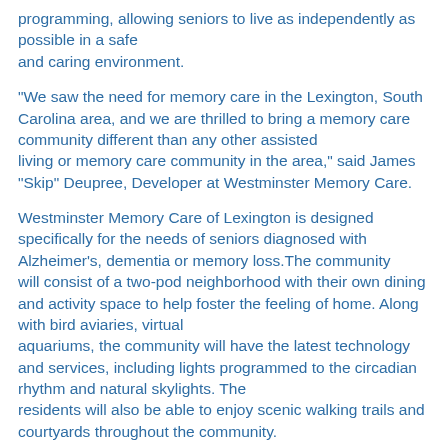programming, allowing seniors to live as independently as possible in a safe and caring environment.
"We saw the need for memory care in the Lexington, South Carolina area, and we are thrilled to bring a memory care community different than any other assisted living or memory care community in the area," said James "Skip" Deupree, Developer at Westminster Memory Care.
Westminster Memory Care of Lexington is designed specifically for the needs of seniors diagnosed with Alzheimer's, dementia or memory loss.The community will consist of a two-pod neighborhood with their own dining and activity space to help foster the feeling of home. Along with bird aviaries, virtual aquariums, the community will have the latest technology and services, including lights programmed to the circadian rhythm and natural skylights. The residents will also be able to enjoy scenic walking trails and courtyards throughout the community.